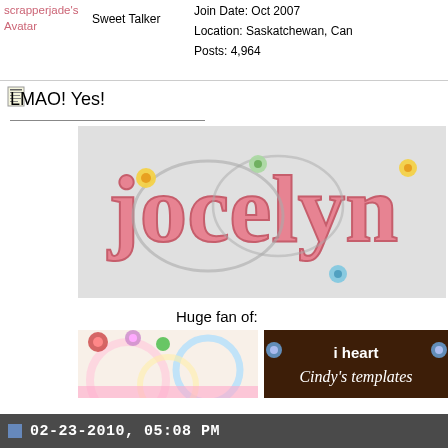scrapperjade's Avatar
Sweet Talker
Join Date: Oct 2007
Location: Saskatchewan, Can
Posts: 4,964
[Figure (illustration): Small document/notepad icon]
LMAO! Yes!
[Figure (illustration): Decorative scrapbooking name art spelling 'Jocelyn' in pink letters with flowers and swirls on light gray background]
Huge fan of:
[Figure (illustration): Colorful scrapbooking banner with flowers and sunburst patterns]
[Figure (illustration): Dark brown banner reading 'i heart Cindy's templates']
02-23-2010, 05:08 PM
[Figure (photo): Profile photo of a woman with brown hair]
profile  galle
Join Date: Feb 2007
Location: Niagara Falls, Can